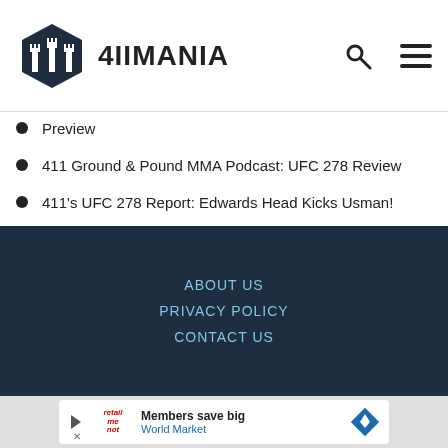4IIMANIA
Preview
411 Ground & Pound MMA Podcast: UFC 278 Review
411's UFC 278 Report: Edwards Head Kicks Usman!
Join 411's Live UFC 278 Coverage
411 MMA Podcast: UFC 278 Preview
411's UFC Fight Night Report: Vera KO's Cruz
ABOUT US
PRIVACY POLICY
CONTACT US